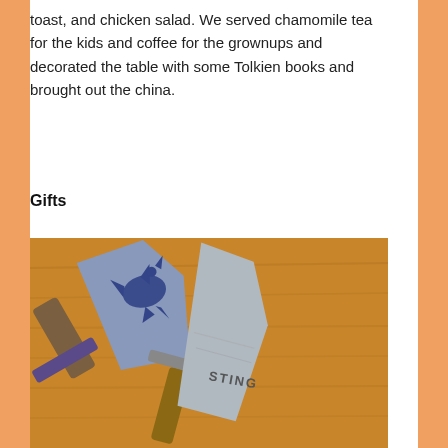toast, and chicken salad. We served chamomile tea for the kids and coffee for the grownups and decorated the table with some Tolkien books and brought out the china.
Gifts
[Figure (photo): A photograph of two wooden toy swords on a wooden surface. One sword has a blue blade with a dragon silhouette design, and the other has a silver/grey blade with the word 'STING' carved or painted on it, referencing the sword from Tolkien's stories.]